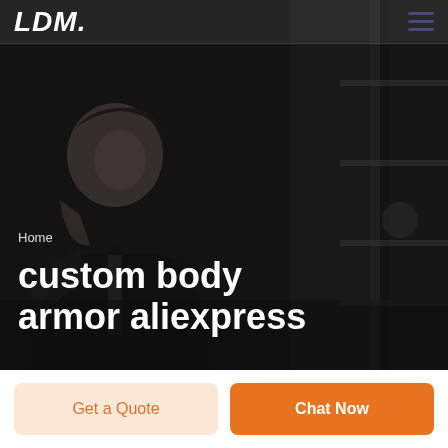LDM
[Figure (photo): Dark grayscale hero image showing a man in a suit in contemplative pose against a blurred architectural background]
Home
custom body armor aliexpress
Get a Quote
Chat Now